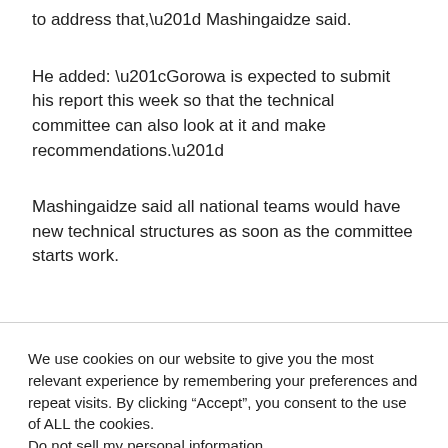to address that,” Mashingaidze said.
He added: “Gorowa is expected to submit his report this week so that the technical committee can also look at it and make recommendations.”
Mashingaidze said all national teams would have new technical structures as soon as the committee starts work.
We use cookies on our website to give you the most relevant experience by remembering your preferences and repeat visits. By clicking “Accept”, you consent to the use of ALL the cookies.
Do not sell my personal information.
Cookie settings
ACCEPT